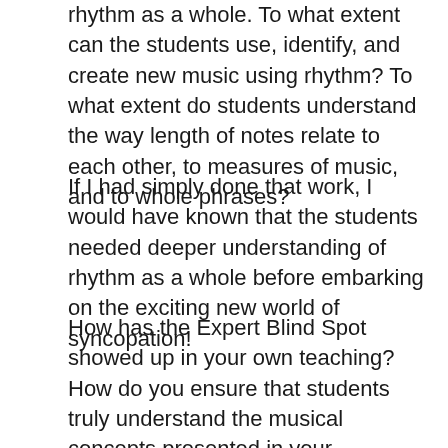rhythm as a whole. To what extent can the students use, identify, and create new music using rhythm? To what extent do students understand the way length of notes relate to each other, to measures of music, and to whole phrases?
If I had simply done that work, I would have known that the students needed deeper understanding of rhythm as a whole before embarking on the exciting new world of syncopation!
How has the Expert Blind Spot showed up in your own teaching? How do you ensure that students truly understand the musical concepts presented in your curriculum? In what ways do you encourage students to reflect on their musical decision making?